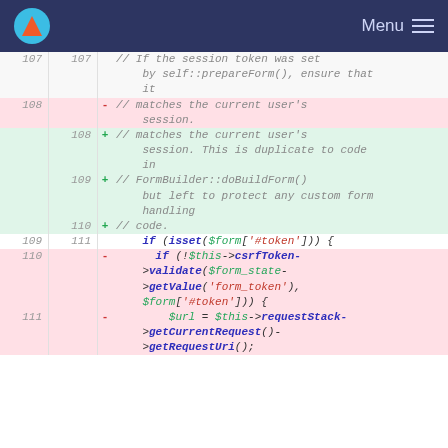Menu
107  107      // If the session token was set by self::prepareForm(), ensure that it
108  -        // matches the current user's session.
108  +        // matches the current user's session. This is duplicate to code in
109  +        // FormBuilder::doBuildForm() but left to protect any custom form handling
110  +        // code.
109  111          if (isset($form['#token'])) {
110  -            if (!$this->csrfToken->validate($form_state->getValue('form_token'), $form['#token'])) {
111  -                $url = $this->requestStack->getCurrentRequest()->getRequestUri();